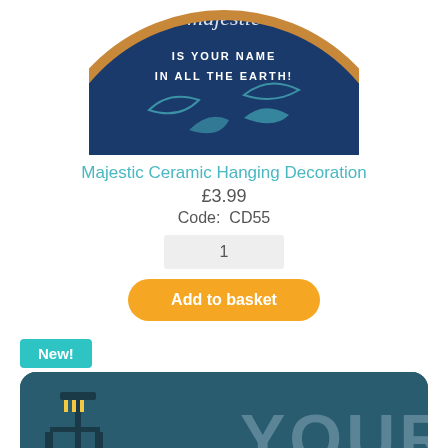[Figure (photo): Circular ceramic hanging decoration with dark blue background, text 'IS YOUR NAME IN ALL THE EARTH!' with bird and hand motifs, cut off at top]
Majestic Ceramic Hanging Decoration
£3.99
Code:  CD55
1
Add to basket
New!
[Figure (photo): Partial product image with dark teal background showing architectural/lamp post silhouette and large grey text 'YOUR']